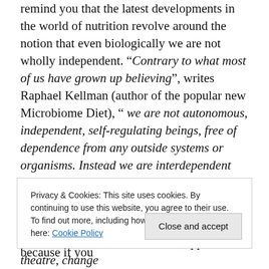remind you that the latest developments in the world of nutrition revolve around the notion that even biologically we are not wholly independent. “Contrary to what most of us have grown up believing”, writes Raphael Kellman (author of the popular new Microbiome Diet), “ we are not autonomous, independent, self-regulating beings, free of dependence from any outside systems or organisms. Instead we are interdependent ecologies responsible for safeguarding the extraordinary world that lives within us.” And that is where I shall leave my ode to our interdependence; our shared humanity, because if you
Privacy & Cookies: This site uses cookies. By continuing to use this website, you agree to their use. To find out more, including how to control cookies, see here: Cookie Policy
creative and cultural education, applied theatre, change